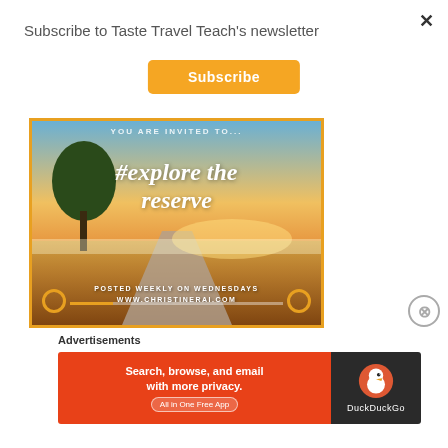Subscribe to Taste Travel Teach's newsletter
Subscribe
[Figure (photo): A scenic outdoor photo overlaid with italic script text '#explore the reserve', with text 'YOU ARE INVITED TO...' at top, 'POSTED WEEKLY ON WEDNESDAYS' and 'WWW.CHRISTINERAI.COM' at bottom. Photo shows a sunrise/golden hour landscape with a large tree on left, a dirt road, and golden fields. Orange decorative border and circular icons at bottom corners with a progress bar.]
Advertisements
[Figure (infographic): DuckDuckGo advertisement banner. Left red section: 'Search, browse, and email with more privacy.' and 'All in One Free App'. Right dark section: DuckDuckGo logo (duck icon) and text 'DuckDuckGo'.]